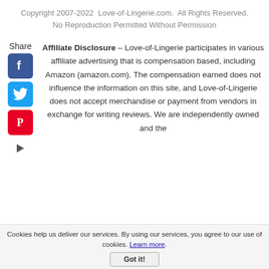Copyright 2007-2022  Love-of-Lingerie.com.  All Rights Reserved.
No Reproduction Permitted Without Permission
Share
Affiliate Disclosure – Love-of-Lingerie participates in various affiliate advertising that is compensation based, including Amazon (amazon.com). The compensation earned does not influence the information on this site, and Love-of-Lingerie does not accept merchandise or payment from vendors in exchange for writing reviews. We are independently owned and the
Cookies help us deliver our services. By using our services, you agree to our use of cookies. Learn more. Got it!